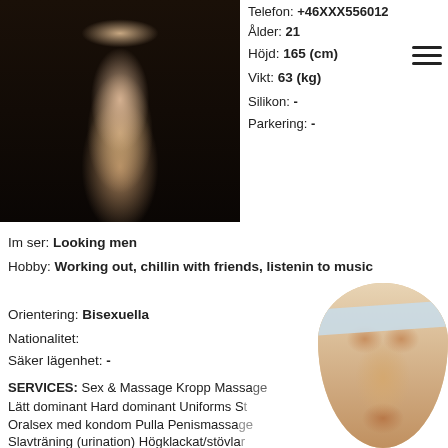[Figure (photo): Photo of a person in black lace bodysuit]
Telefon: +46XXX556012
Ålder: 21
Höjd: 165 (cm)
Vikt: 63 (kg)
Silikon: -
Parkering: -
Im ser: Looking men
Hobby: Working out, chillin with friends, listenin to music
Orientering: Bisexuella
Nationalitet:
Säker lägenhet: -
SERVICES: Sex & Massage Kropp Massa... Lätt dominant Hard dominant Uniforms S... Oralsex med kondom Pulla Penismassa... Slavträning (urination) Högklackat/stövla... ansiktet Smekning Kyss Fotfetisch Tar emot S... Brostt...
[Figure (photo): Partial body photo with light blue mask/strip overlay]